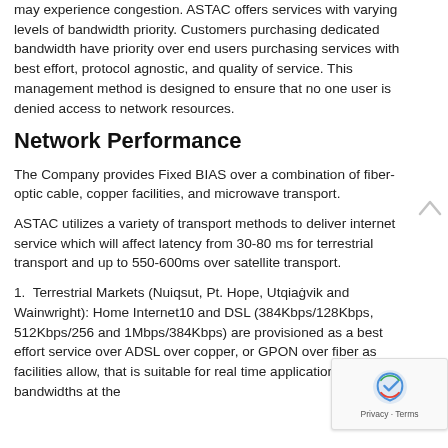may experience congestion. ASTAC offers services with varying levels of bandwidth priority. Customers purchasing dedicated bandwidth have priority over end users purchasing services with best effort, protocol agnostic, and quality of service. This management method is designed to ensure that no one user is denied access to network resources.
Network Performance
The Company provides Fixed BIAS over a combination of fiber-optic cable, copper facilities, and microwave transport.
ASTAC utilizes a variety of transport methods to deliver internet service which will affect latency from 30-80 ms for terrestrial transport and up to 550-600ms over satellite transport.
1.  Terrestrial Markets (Nuiqsut, Pt. Hope, Utqiaġvik and Wainwright): Home Internet10 and DSL (384Kbps/128Kbps, 512Kbps/256 and 1Mbps/384Kbps) are provisioned as a best effort service over ADSL over copper, or GPON over fiber as facilities allow, that is suitable for real time applications with bandwidths at the